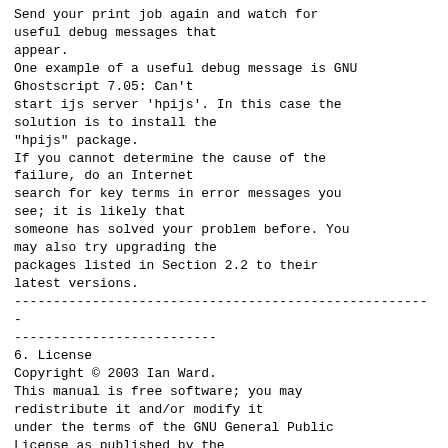Send your print job again and watch for useful debug messages that appear.
One example of a useful debug message is GNU Ghostscript 7.05: Can't start ijs server 'hpijs'. In this case the solution is to install the "hpijs" package.
If you cannot determine the cause of the failure, do an Internet search for key terms in error messages you see; it is likely that someone has solved your problem before. You may also try upgrading the packages listed in Section 2.2 to their latest versions.
------------------------------------------------------
--------------------------
6. License
Copyright © 2003 Ian Ward.
This manual is free software; you may redistribute it and/or modify it under the terms of the GNU General Public License as published by the Free Software Foundation; either version 2.